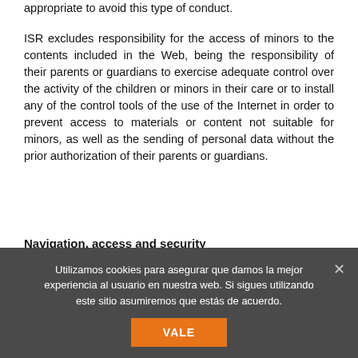appropriate to avoid this type of conduct.
ISR excludes responsibility for the access of minors to the contents included in the Web, being the responsibility of their parents or guardians to exercise adequate control over the activity of the children or minors in their care or to install any of the control tools of the use of the Internet in order to prevent access to materials or content not suitable for minors, as well as the sending of personal data without the prior authorization of their parents or guardians.
Navigation, access and security
Accessing and browsing this website implies accepting and knowing the legal warnings, conditions and terms of
Utilizamos cookies para asegurar que damos la mejor experiencia al usuario en nuestra web. Si sigues utilizando este sitio asumiremos que estás de acuerdo.